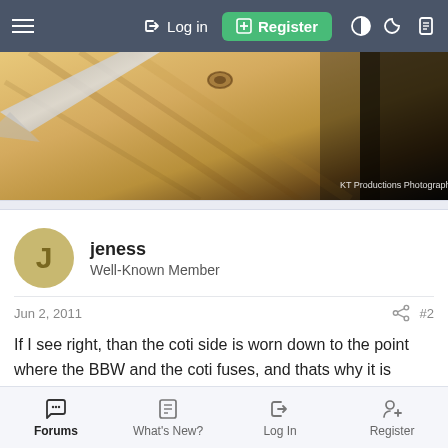Log in  Register
[Figure (photo): Close-up photo of a wooden surface with metal hardware, credit: KT Productions Photography]
jeness
Well-Known Member
Jun 2, 2011   #2
If I see right, than the coti side is worn down to the point where the BBW and the coti fuses, and thats why it is darker.
Forums   What's New?   Log In   Register